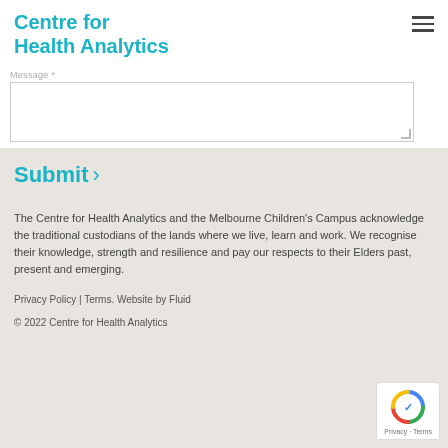Centre for Health Analytics
Message *
Submit ›
The Centre for Health Analytics and the Melbourne Children's Campus acknowledge the traditional custodians of the lands where we live, learn and work. We recognise their knowledge, strength and resilience and pay our respects to their Elders past, present and emerging.
Privacy Policy | Terms.  Website by Fluid
© 2022 Centre for Health Analytics